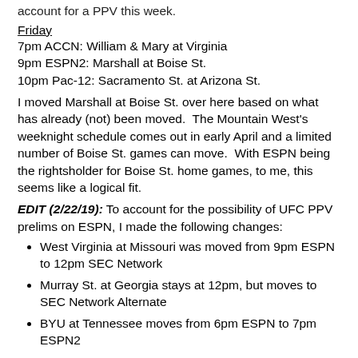account for a PPV this week.
Friday
7pm ACCN: William & Mary at Virginia
9pm ESPN2: Marshall at Boise St.
10pm Pac-12: Sacramento St. at Arizona St.
I moved Marshall at Boise St. over here based on what has already (not) been moved. The Mountain West's weeknight schedule comes out in early April and a limited number of Boise St. games can move. With ESPN being the rightsholder for Boise St. home games, to me, this seems like a logical fit.
EDIT (2/22/19): To account for the possibility of UFC PPV prelims on ESPN, I made the following changes:
West Virginia at Missouri was moved from 9pm ESPN to 12pm SEC Network
Murray St. at Georgia stays at 12pm, but moves to SEC Network Alternate
BYU at Tennessee moves from 6pm ESPN to 7pm ESPN2